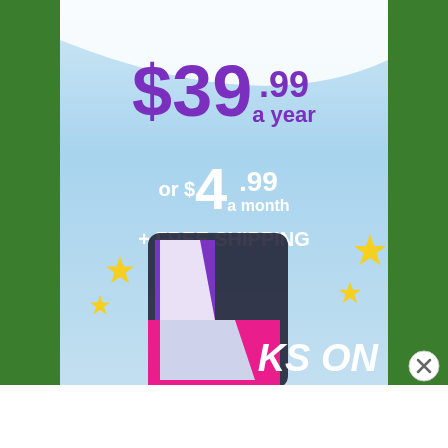[Figure (illustration): Advertisement banner with light blue sky background showing pricing: $39.99 a year or $4.99 a month + FREE SHIPPING, with a colorful Tumblr 't' logo and sparkle stars, and partial text 'KS ON']
Advertisements
[Figure (illustration): DuckDuckGo advertisement banner: 'Search, browse, and email with more privacy. All in One Free App' with DuckDuckGo logo on dark background]